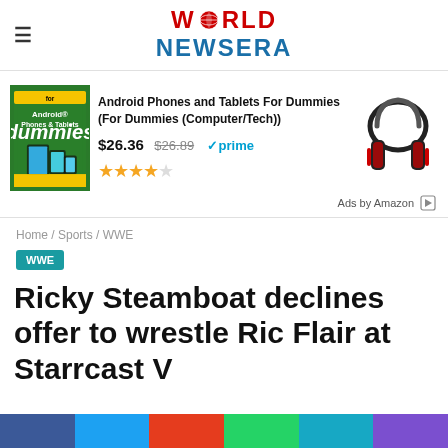WORLD NEWSERA
[Figure (other): Amazon advertisement showing Android Phones and Tablets For Dummies book and gaming headphones]
Ads by Amazon
Home / Sports / WWE
WWE
Ricky Steamboat declines offer to wrestle Ric Flair at Starrcast V